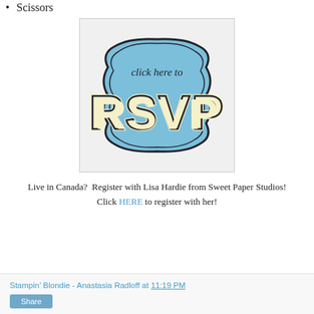Scissors
[Figure (illustration): A blue decorative badge/button with cursive text 'click here to' at the top and large block letters 'RSVP' in the center with a cream/yellow outline, on a light blue background with an ornate frame border.]
Live in Canada?  Register with Lisa Hardie from Sweet Paper Studios!
Click HERE to register with her!
Stampin' Blondie - Anastasia Radloff at 11:19 PM
Share